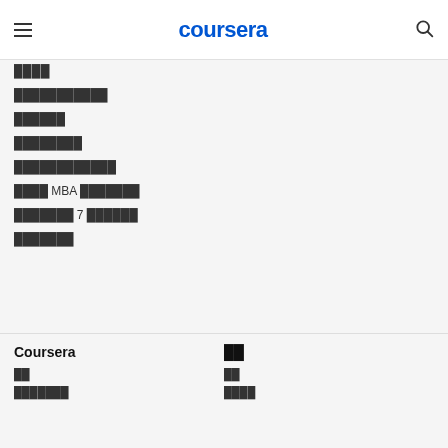coursera
████
███████████
██████
████████
████████████
████ MBA ███████
███████ 7 ██████
███████
Coursera
██
██
██
███████
████